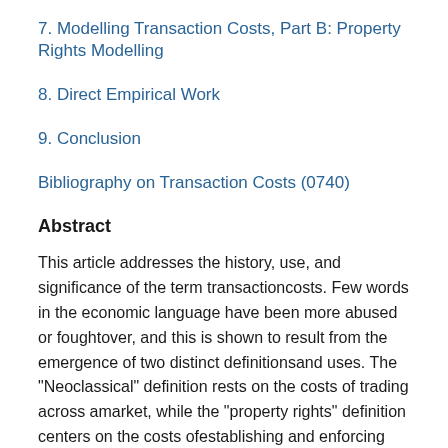7. Modelling Transaction Costs, Part B: Property Rights Modelling
8. Direct Empirical Work
9. Conclusion
Bibliography on Transaction Costs (0740)
Abstract
This article addresses the history, use, and significance of the term transactioncosts. Few words in the economic language have been more abused or foughtover, and this is shown to result from the emergence of two distinct definitionsand uses. The "Neoclassical" definition rests on the costs of trading across amarket, while the "property rights" definition centers on the costs ofestablishing and enforcing property rights. In articulating these two separatedefinitions, and in demonstrating their relationship